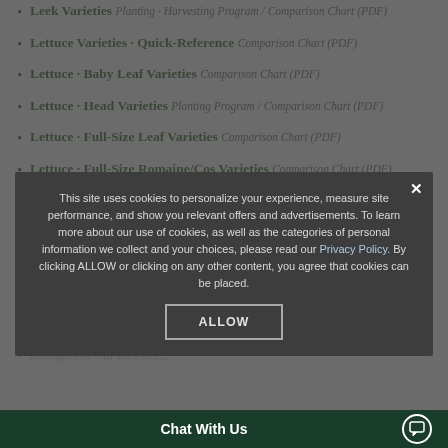Leek Varieties Planting · Harvesting Program / Comparison Chart (PDF)
Lettuce Varieties · Quick-Reference Comparison Chart (PDF)
Lettuce · Baby Leaf Varieties Comparison Chart (PDF)
Lettuce · Head Varieties Planting Program / Comparison Chart (PDF)
Lettuce · Full-Size Leaf Varieties Comparison Chart (PDF)
Lettuce · Full-Size Romaine/Cos Varieties Comparison Chart (PDF)
Lettuce, Salanova® Varieties ...
Microgreens · ...
This site uses cookies to personalize your experience, measure site performance, and show you relevant offers and advertisements. To learn more about our use of cookies, as well as the categories of personal information we collect and your choices, please read our Privacy Policy. By clicking ALLOW or clicking on any other content, you agree that cookies can be placed.
Microgreens · Multicot/Multicot Varieties · Indoor/Flavor/Varieties
Microgreens · All Varieties ...
Chat With Us